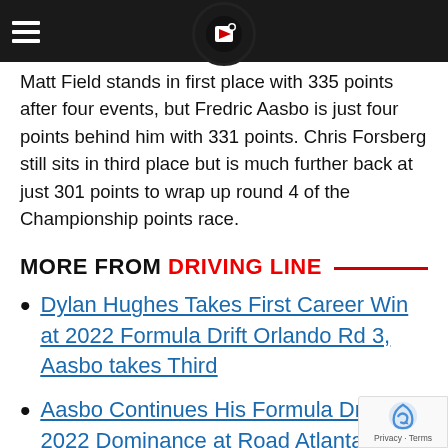Matt Field stands in first place with 335 points after four events, but Fredric Aasbo is just four points behind him with 331 points. Chris Forsberg still sits in third place but is much further back at just 301 points to wrap up round 4 of the Championship points race.
MORE FROM DRIVING LINE
Dylan Hughes Takes First Career Win at 2022 Formula Drift Orlando Rd 3, Aasbo takes Third
Aasbo Continues His Formula Drift 2022 Dominance at Road Atlanta, Rd